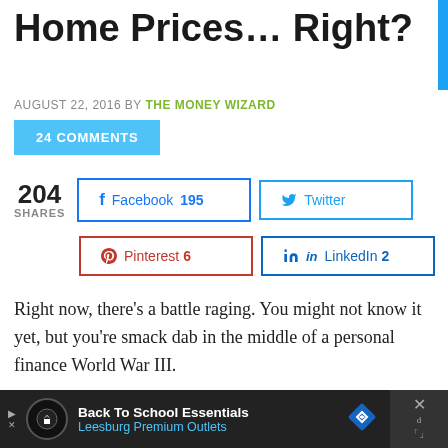Home Prices... Right?
AUGUST 22, 2016 BY THE MONEY WIZARD
24 COMMENTS
[Figure (infographic): Social share buttons showing 204 total shares: Facebook 195, Twitter, Pinterest 6, LinkedIn 2]
Right now, there’s a battle raging. You might not know it yet, but you’re smack dab in the middle of a personal finance World War III.
[Figure (infographic): Advertisement bar at bottom: Back To School Essentials - Leesburg Premium Outlets]